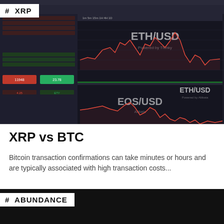[Figure (screenshot): Laptop screen showing cryptocurrency trading charts with ETH/USD and EOS/USD pairs on a dark trading platform interface]
# XRP
XRP vs BTC
Bitcoin transaction confirmations can take minutes or hours and are typically associated with high transaction costs...
# ABUNDANCE
[Figure (photo): Gold coins stacked on left and right sides with a colorful globe/world map sphere in the center, on a dark background]